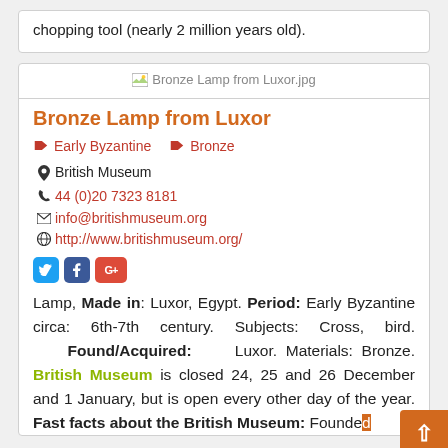chopping tool (nearly 2 million years old).
[Figure (photo): Bronze Lamp from Luxor image placeholder]
Bronze Lamp from Luxor
Early Byzantine   Bronze
British Museum
44 (0)20 7323 8181
info@britishmuseum.org
http://www.britishmuseum.org/
Lamp, Made in: Luxor, Egypt. Period: Early Byzantine circa: 6th-7th century. Subjects: Cross, bird. Found/Acquired: Luxor. Materials: Bronze. British Museum is closed 24, 25 and 26 December and 1 January, but is open every other day of the year. Fast facts about the British Museum: Founded